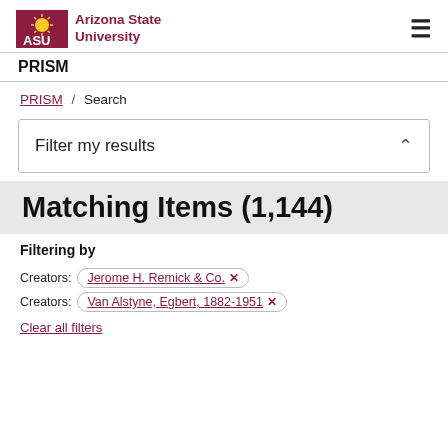[Figure (logo): Arizona State University logo with ASU text in maroon and university name]
PRISM
PRISM / Search
Filter my results
Matching Items (1,144)
Filtering by
Creators: Jerome H. Remick & Co. ✕
Creators: Van Alstyne, Egbert, 1882-1951 ✕
Clear all filters